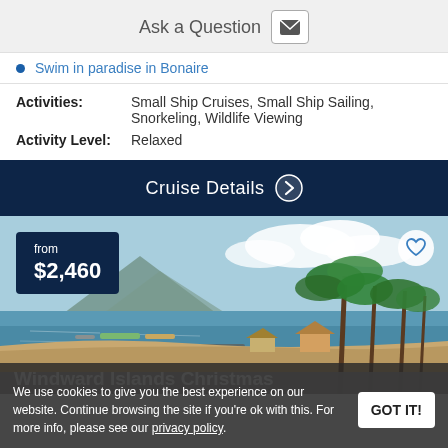Ask a Question
Swim in paradise in Bonaire
Activities: Small Ship Cruises, Small Ship Sailing, Snorkeling, Wildlife Viewing
Activity Level: Relaxed
Cruise Details
[Figure (photo): Tropical beach scene with palm trees, sandy shore, small boats in calm blue water, mountains in background, golden late afternoon light]
from $2,460
We use cookies to give you the best experience on our website. Continue browsing the site if you're ok with this. For more info, please see our privacy policy.
Windward Islands Christmas